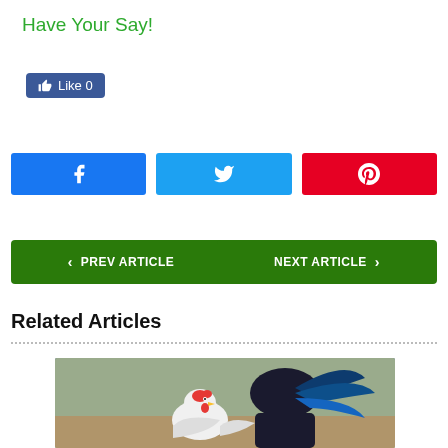Have Your Say!
[Figure (screenshot): Facebook Like button showing 0 likes]
[Figure (infographic): Social sharing buttons: Facebook, Twitter, Pinterest]
< PREV ARTICLE
NEXT ARTICLE >
Related Articles
[Figure (photo): Photo of a chicken/rooster with another bird in background]